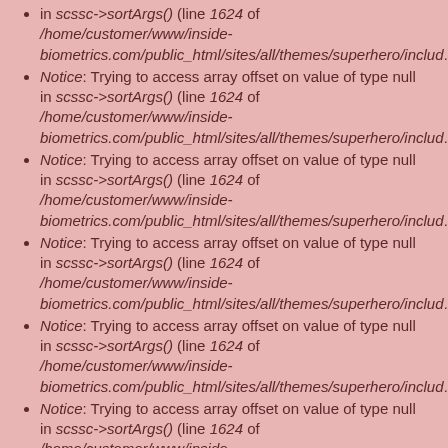in scssc->sortArgs() (line 1624 of /home/customer/www/inside-biometrics.com/public_html/sites/all/themes/superhero/includ…
Notice: Trying to access array offset on value of type null in scssc->sortArgs() (line 1624 of /home/customer/www/inside-biometrics.com/public_html/sites/all/themes/superhero/includ…
Notice: Trying to access array offset on value of type null in scssc->sortArgs() (line 1624 of /home/customer/www/inside-biometrics.com/public_html/sites/all/themes/superhero/includ…
Notice: Trying to access array offset on value of type null in scssc->sortArgs() (line 1624 of /home/customer/www/inside-biometrics.com/public_html/sites/all/themes/superhero/includ…
Notice: Trying to access array offset on value of type null in scssc->sortArgs() (line 1624 of /home/customer/www/inside-biometrics.com/public_html/sites/all/themes/superhero/includ…
Notice: Trying to access array offset on value of type null in scssc->sortArgs() (line 1624 of /home/customer/www/inside-biometrics.com/public_html/sites/all/themes/superhero/includ…